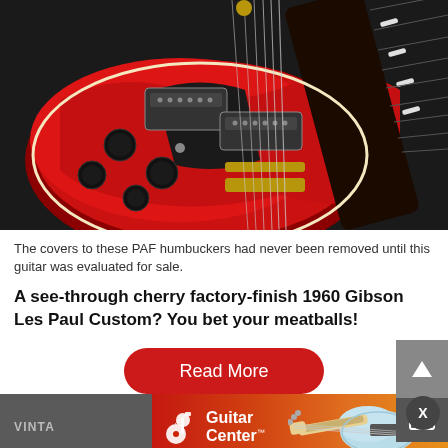[Figure (photo): Close-up photo of a red 1960 Gibson Les Paul Custom electric guitar with PAF humbuckers visible, gold hardware, black pickguard, and dark fretboard with white inlays, shot against a dark background.]
The covers to these PAF humbuckers had never been removed until this guitar was evaluated for sale.
A see-through cherry factory-finish 1960 Gibson Les Paul Custom? You bet your meatballs!
[Figure (screenshot): Red 'Read More' button with white text, overlapping with a Guitar Center advertisement banner showing the Guitar Center logo and a light blue electric guitar against an orange gradient background.]